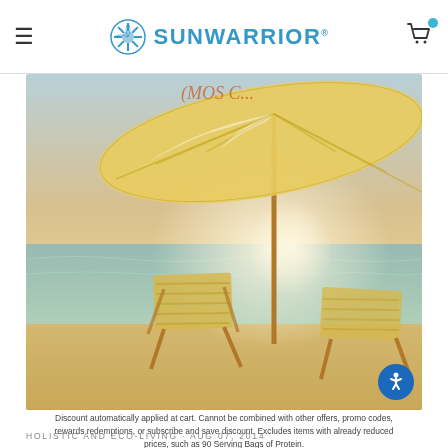SUNWARRIOR
[Figure (photo): Beach scene with two wooden lounge chairs under a large yellow-and-white beach umbrella, facing a calm sea at sunset with warm golden light.]
Discount automatically applied at cart. Cannot be combined with other offers, promo codes, rewards redemptions, or subscribe and save discount. Excludes items with already reduced prices, such as 90 Serving Bags of Protein.
HOLISTIC AND ECO-LIVING · AUG 07, 2014